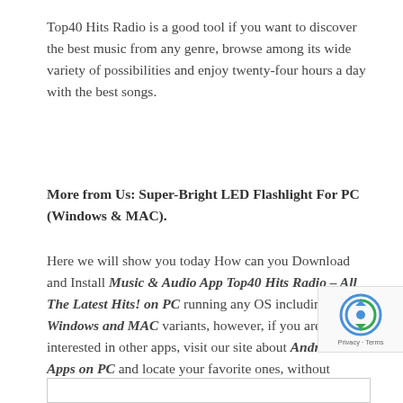Top40 Hits Radio is a good tool if you want to discover the best music from any genre, browse among its wide variety of possibilities and enjoy twenty-four hours a day with the best songs.
More from Us: Super-Bright LED Flashlight For PC (Windows & MAC).
Here we will show you today How can you Download and Install Music & Audio App Top40 Hits Radio – All The Latest Hits! on PC running any OS including Windows and MAC variants, however, if you are interested in other apps, visit our site about Android Apps on PC and locate your favorite ones, without further ado, let us continue.